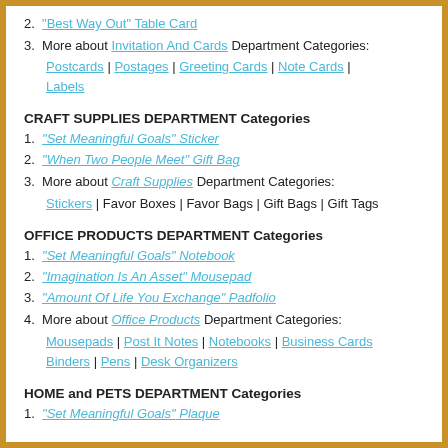2. "Best Way Out" Table Card
3. More about Invitation And Cards Department Categories:
Postcards | Postages | Greeting Cards | Note Cards | Labels
CRAFT SUPPLIES DEPARTMENT Categories
1. "Set Meaningful Goals" Sticker
2. "When Two People Meet" Gift Bag
3. More about Craft Supplies Department Categories:
Stickers | Favor Boxes | Favor Bags | Gift Bags | Gift Tags
OFFICE PRODUCTS DEPARTMENT Categories
1. "Set Meaningful Goals" Notebook
2. "Imagination Is An Asset" Mousepad
3. "Amount Of Life You Exchange" Padfolio
4. More about Office Products Department Categories:
Mousepads | Post It Notes | Notebooks | Business Cards Binders | Pens | Desk Organizers
HOME and PETS DEPARTMENT Categories
1. "Set Meaningful Goals" Plaque